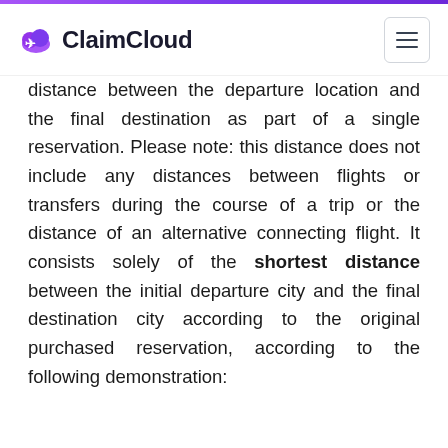ClaimCloud
distance between the departure location and the final destination as part of a single reservation. Please note: this distance does not include any distances between flights or transfers during the course of a trip or the distance of an alternative connecting flight. It consists solely of the shortest distance between the initial departure city and the final destination city according to the original purchased reservation, according to the following demonstration: